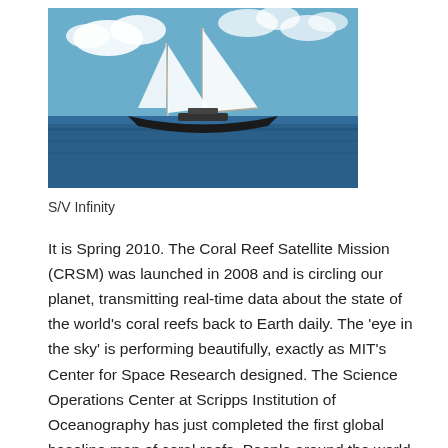[Figure (photo): A two-masted sailing yacht (S/V Infinity) on calm blue ocean water under a partly cloudy sky with white sails fully deployed.]
S/V Infinity
It is Spring 2010. The Coral Reef Satellite Mission (CRSM) was launched in 2008 and is circling our planet, transmitting real-time data about the state of the world’s coral reefs back to Earth daily. The ‘eye in the sky’ is performing beautifully, exactly as MIT’s Center for Space Research designed. The Science Operations Center at Scripps Institution of Oceanography has just completed the first global baseline map of coral reefs. People around the world are logging on to www.pcrf.org, downloading data and images for free, discovering the hidden world of coral reefs in an exciting, engaging way.